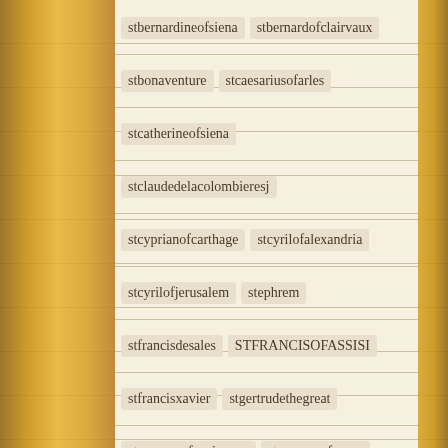stbernardineofsiena  stbernardofclairvaux
stbonaventure  stcaesariusofarles
stcatherineofsiena
stclaudedelacolombieresj
stcyprianofcarthage  stcyrilofalexandria
stcyrilofjerusalem  stephrem
stfrancisdesales  STFRANCISOFASSISI
stfrancisxavier  stgertrudethegreat
stgregoryofnazianzen  stgregoryofnyssa
sthilaryofpoitiers  stignatiusloyola
stignatiusofantioch  stlrenaeus  stjerome
stjohnbosco  stjohnchrysostom